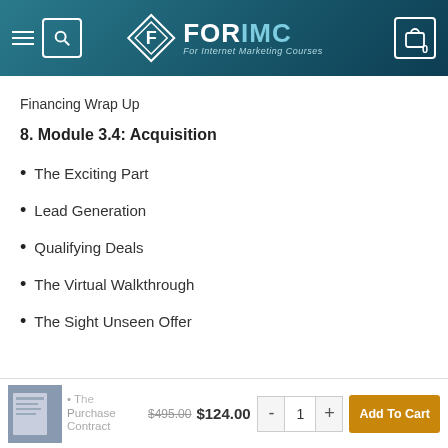[Figure (screenshot): FORIMC website header with logo, hamburger menu, search icon, and cart showing 0 items]
Financing Wrap Up
8. Module 3.4: Acquisition
The Exciting Part
Lead Generation
Qualifying Deals
The Virtual Walkthrough
The Sight Unseen Offer
The Purchase Contract
$495.00 $124.00
Add To Cart